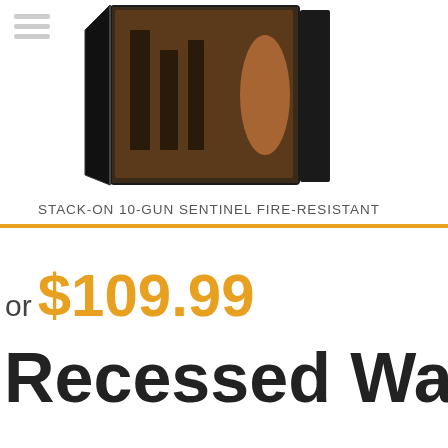[Figure (photo): Product photo of a black Stack-On gun safe with door open showing interior]
STACK-ON 10-GUN SENTINEL FIRE-RESISTANT
or $109.99
Recessed Wall H